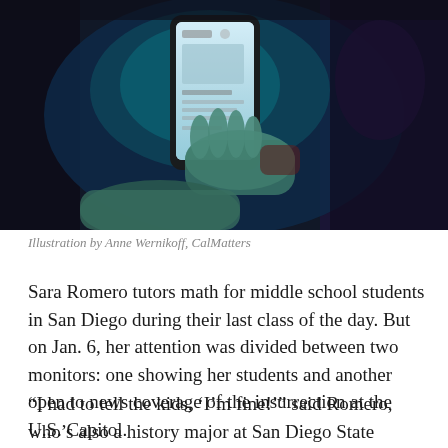[Figure (photo): A person holding a smartphone displaying a social media feed, illuminated by blue-tinted light in a dark setting. Two hands are visible — one holding the phone up, another reaching from below.]
Illustration by Anne Wernikoff, CalMatters
Sara Romero tutors math for middle school students in San Diego during their last class of the day. But on Jan. 6, her attention was divided between two monitors: one showing her students and another open to news coverage of the insurrection at the U.S. Capitol.
“I had to tell the kids, ‘I’m fine!’” said Romero, who’s also a history major at San Diego State University. “But watching this, I was definitely mad. My First